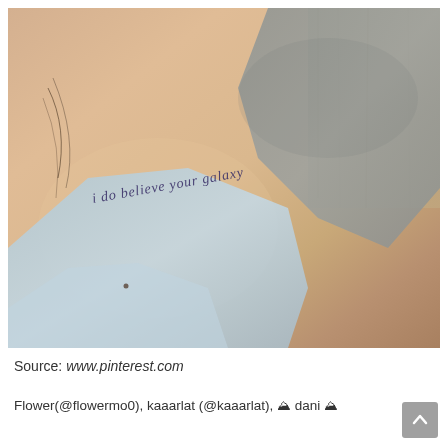[Figure (photo): Close-up photo of a person's shoulder/collarbone area with a cursive tattoo reading 'i do believe your galaxy'. The person is wearing a grey top and blue/white clothing. A wooden surface is visible in the background.]
Source: www.pinterest.com
Flower(@flowermo0), kaaarlat (@kaaarlat), dani